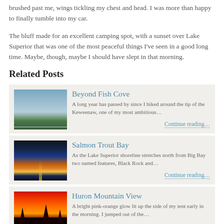brushed past me, wings tickling my chest and head. I was more than happy to finally tumble into my car.
The bluff made for an excellent camping spot, with a sunset over Lake Superior that was one of the most peaceful things I've seen in a good long time. Maybe, though, maybe I should have slept in that morning.
Related Posts
[Figure (photo): Lake Superior shoreline with trees and calm water under a blue sky]
Beyond Fish Cove
A long year has passed by since I hiked around the tip of the Keweenaw, one of my most ambitious…
Continue reading…
[Figure (photo): Sunset over Lake Superior with a golden reflection on the water]
Salmon Trout Bay
As the Lake Superior shoreline stretches north from Big Bay two named features, Black Rock and…
Continue reading…
[Figure (photo): Vivid red and orange sunset silhouetting pine trees]
Huron Mountain View
A bright pink-orange glow lit up the side of my tent early in the morning. I jumped out of the…